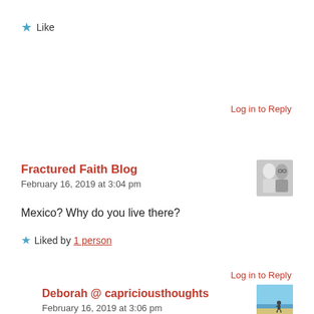★ Like
Log in to Reply
Fractured Faith Blog
February 16, 2019 at 3:04 pm
[Figure (photo): Avatar photo of two people, black and white]
Mexico? Why do you live there?
★ Liked by 1 person
Log in to Reply
Deborah @ capriciousthoughts
February 16, 2019 at 3:06 pm
[Figure (photo): Avatar photo showing beach scene with person]